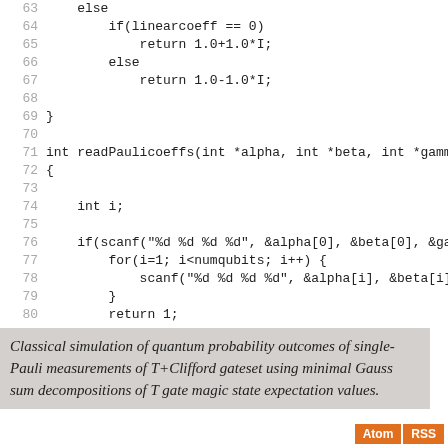[Figure (screenshot): Code listing showing lines 63-87 of a C program with functions using linearcoeff, returning complex values, and readPaulicoeffs function using scanf and for loops.]
Classical simulation of quantum probability outcomes of single-Pauli measurements of T+Clifford gateset using minimal Gauss sum decompositions of T gate magic state expectation values.
Atom  RSS